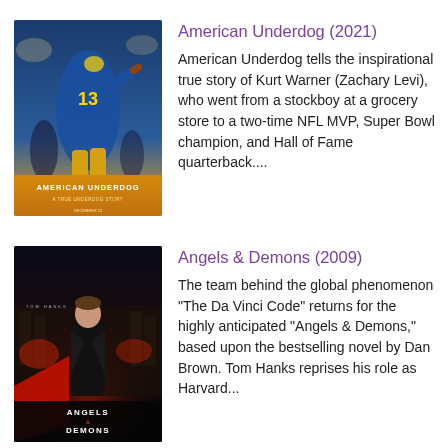[Figure (photo): Movie poster for American Underdog (2021) showing a quarterback in a Rams uniform throwing a football, with the title AMERICAN UNDERDOG at the bottom]
American Underdog (2021)
American Underdog tells the inspirational true story of Kurt Warner (Zachary Levi), who went from a stockboy at a grocery store to a two-time NFL MVP, Super Bowl champion, and Hall of Fame quarterback....
[Figure (photo): Movie poster for Angels & Demons (2009) showing Tom Hanks in a dark dramatic scene with the title ANGELS & DEMONS at the bottom]
Angels & Demons (2009)
The team behind the global phenomenon "The Da Vinci Code" returns for the highly anticipated "Angels & Demons," based upon the bestselling novel by Dan Brown. Tom Hanks reprises his role as Harvard...